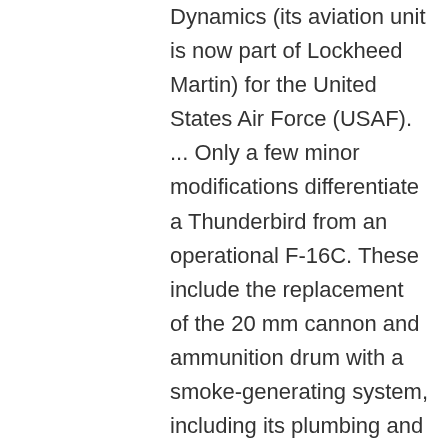Dynamics (its aviation unit is now part of Lockheed Martin) for the United States Air Force (USAF). ... Only a few minor modifications differentiate a Thunderbird from an operational F-16C. These include the replacement of the 20 mm cannon and ammunition drum with a smoke-generating system, including its plumbing and control switches, the removal of the jet fuel starter exhaust door, and the application of the Thunderbirds' glossy red, white, and blue polyurethane paint scheme. All of the modification work is performed at the maintenance depot at Hill AFB near Ogden, Utah. Other than those modifications, the aircraft are taken from the standard USAF inventory as production fighters, and can be